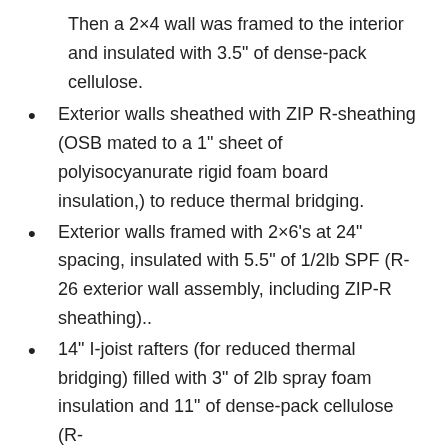Then a 2×4 wall was framed to the interior and insulated with 3.5" of dense-pack cellulose.
Exterior walls sheathed with ZIP R-sheathing (OSB mated to a 1" sheet of polyisocyanurate rigid foam board insulation,) to reduce thermal bridging.
Exterior walls framed with 2×6's at 24" spacing, insulated with 5.5" of 1/2lb SPF (R-26 exterior wall assembly, including ZIP-R sheathing)..
14" I-joist rafters (for reduced thermal bridging) filled with 3" of 2lb spray foam insulation and 11" of dense-pack cellulose (R-